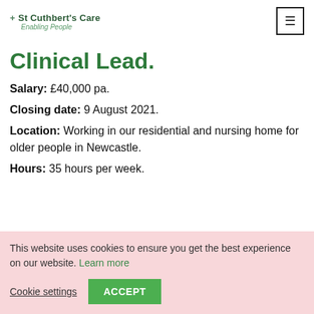+ St Cuthbert's Care Enabling People
Clinical Lead.
Salary: £40,000 pa.
Closing date: 9 August 2021.
Location: Working in our residential and nursing home for older people in Newcastle.
Hours: 35 hours per week.
This website uses cookies to ensure you get the best experience on our website. Learn more
Cookie settings  ACCEPT